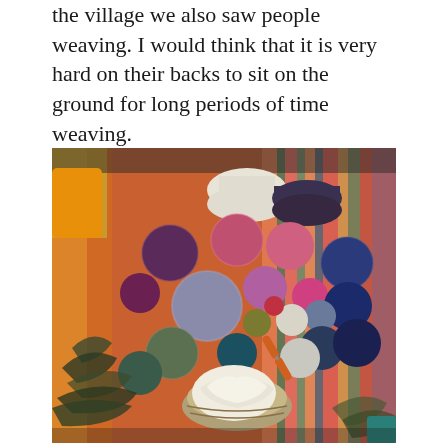the village we also saw people weaving. I would think that it is very hard on their backs to sit on the ground for long periods of time weaving.
[Figure (photo): Photograph of colorful balls of yarn in various shades — purple, pink, blue, grey, green, white, and dark tones — arranged on a woven multicolored striped blanket or textile, with dried herbs/plants and a white cloth visible in the foreground, and scissors among the yarn.]